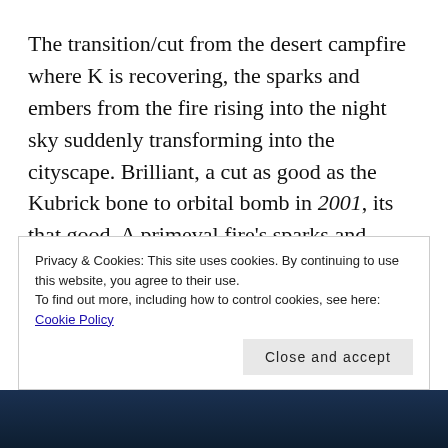The transition/cut from the desert campfire where K is recovering, the sparks and embers from the fire rising into the night sky suddenly transforming into the cityscape. Brilliant, a cut as good as the Kubrick bone to orbital bomb in 2001, its that good. A primeval fire's sparks and embers rising up into the night and leaping thousands of years of technology into future megalopolis. Almost thrown in as an incidental aside as we
Privacy & Cookies: This site uses cookies. By continuing to use this website, you agree to their use.
To find out more, including how to control cookies, see here: Cookie Policy
[Figure (photo): Dark image at bottom of page, partially visible, showing a dark teal/blue scene]